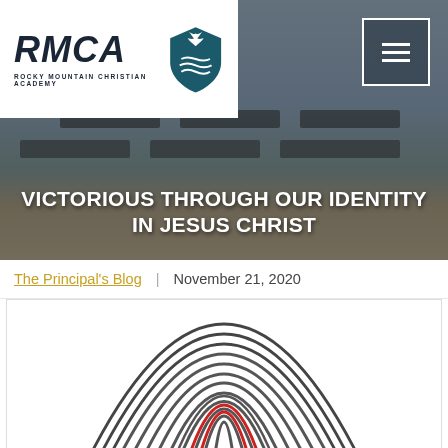[Figure (photo): Hero image of a classroom with desks and chairs, overlaid with a dark tint. RMCA (Rocky Mountain Christian Academy) logo in white box top-left. Hamburger menu button top-right. Large white bold uppercase text overlay reading 'VICTORIOUS THROUGH OUR IDENTITY IN JESUS CHRIST'.]
The Principal's Blog | November 21, 2020
[Figure (illustration): Partial view of a fingerprint illustration with some red-colored ridges near the center bottom, on a white background.]